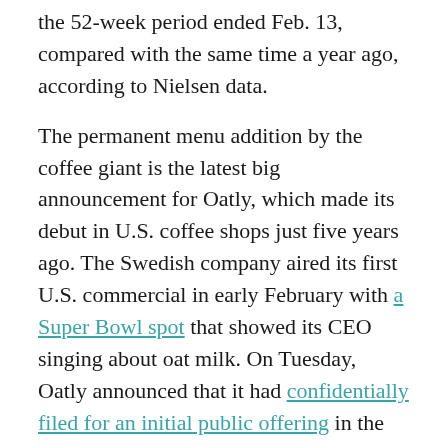the 52-week period ended Feb. 13, compared with the same time a year ago, according to Nielsen data.
The permanent menu addition by the coffee giant is the latest big announcement for Oatly, which made its debut in U.S. coffee shops just five years ago. The Swedish company aired its first U.S. commercial in early February with a Super Bowl spot that showed its CEO singing about oat milk. On Tuesday, Oatly announced that it had confidentially filed for an initial public offering in the U.S.
Starbucks added oat milk from Oatly competitor Elmhurst 1925 at select upscale Reserve locations in 2019. Last year, it started testing a wider audience with Oatly's version through a pilot in the Midwest. The coffee chain has been adding more plant-based alternatives to its menu in an effort to attract new customers and be more environmentally friendly.